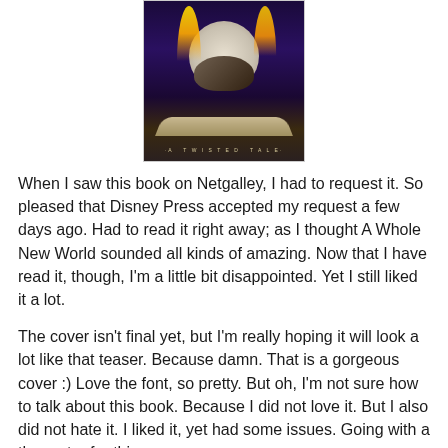[Figure (illustration): Book cover teaser image for 'A Whole New World: A Twisted Tale' showing a magic lamp with yellow flames against a dark purple/night sky with a large moon, and a magic carpet below. Text at bottom reads '·A TWISTED TALE·']
When I saw this book on Netgalley, I had to request it. So pleased that Disney Press accepted my request a few days ago. Had to read it right away; as I thought A Whole New World sounded all kinds of amazing. Now that I have read it, though, I'm a little bit disappointed. Yet I still liked it a lot.
The cover isn't final yet, but I'm really hoping it will look a lot like that teaser. Because damn. That is a gorgeous cover :) Love the font, so pretty. But oh, I'm not sure how to talk about this book. Because I did not love it. But I also did not hate it. I liked it, yet had some issues. Going with a three star for this.